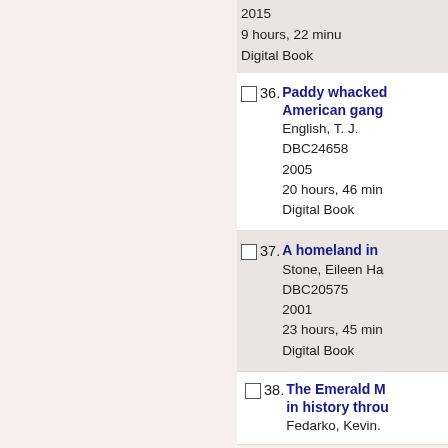2015
9 hours, 22 minutes
Digital Book
36. Paddy whacked American gang
English, T. J.
DBC24658
2005
20 hours, 46 minutes
Digital Book
37. A homeland in
Stone, Eileen Ha
DBC20575
2001
23 hours, 45 minutes
Digital Book
38. The Emerald M in history throu
Fedarko, Kevin.